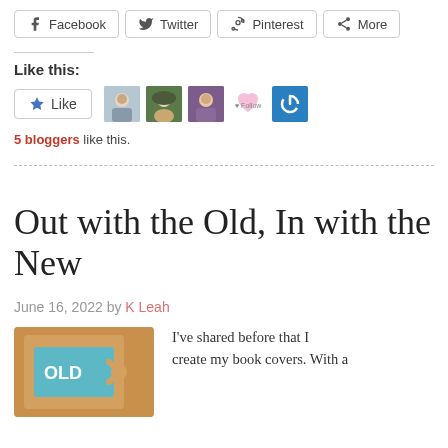Facebook  Twitter  Pinterest  More
Like this:
[Figure (other): Like button with star icon, followed by 5 blogger avatar thumbnails including a blue power icon]
5 bloggers like this.
Out with the Old, In with the New
June 16, 2022 by K Leah
[Figure (photo): Book cover image with cardboard envelope style showing 'OLD' text]
I've shared before that I create my book covers. With a